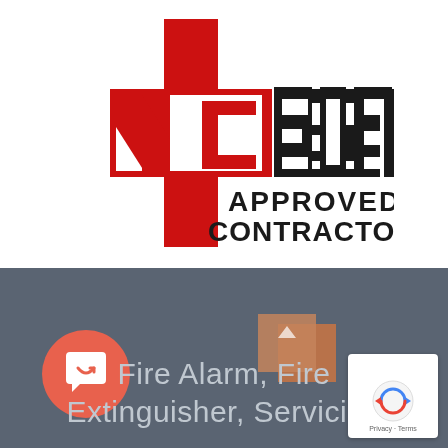[Figure (logo): NICEIC Approved Contractor logo — red cross/plus shape with N, I, C letters in red and EIC in black block letters, with APPROVED CONTRACTOR text in black below]
[Figure (infographic): Dark grey banner section with coral red chat bubble icon (circle with message/smile icon), text 'Fire Alarm, Fire Extinguisher, Servicing' in light grey, brown overlapping squares top right, reCAPTCHA Privacy/Terms badge bottom right]